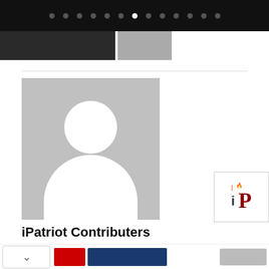[Figure (screenshot): Top black navigation bar with circular dot indicators, one white/active dot in the center]
[Figure (screenshot): Header images: dark banner image on the left and gray image on the right]
[Figure (photo): Default user avatar placeholder: gray background with white silhouette (circle head and rounded body)]
[Figure (logo): iPatriot logo: small 'i' with flame above and large red 'P' on white background]
iPatriot Contributers
[Figure (screenshot): Bottom action bar with chevron/down arrow button, red button, blue button, and gray button]
[Figure (screenshot): Advertisement banner with dark background, product image on left, 'Serving Since 2012' text, and 'Contact Us' button]
Brandation